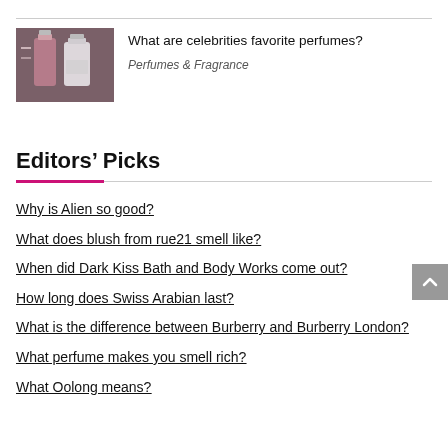[Figure (photo): Two perfume bottles on a dark background — a red/dark bottle on the left and a white/clear bottle on the right]
What are celebrities favorite perfumes?
Perfumes & Fragrance
Editors' Picks
Why is Alien so good?
What does blush from rue21 smell like?
When did Dark Kiss Bath and Body Works come out?
How long does Swiss Arabian last?
What is the difference between Burberry and Burberry London?
What perfume makes you smell rich?
What Oolong means?